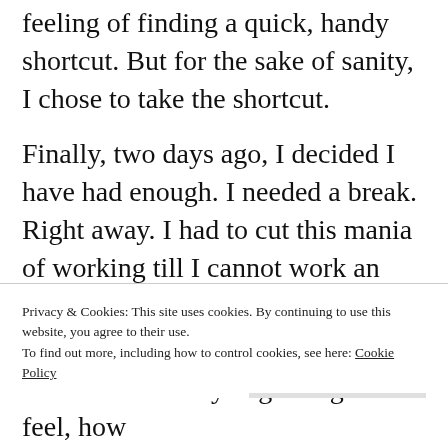feeling of finding a quick, handy shortcut. But for the sake of sanity, I chose to take the shortcut.
Finally, two days ago, I decided I have had enough. I needed a break. Right away. I had to cut this mania of working till I cannot work an extra minute because the extra cash earned will never be able to buy me the lost peace, health or the small joys I have been letting slip past.
heart I am already beginning to feel, how
Privacy & Cookies: This site uses cookies. By continuing to use this website, you agree to their use.
To find out more, including how to control cookies, see here: Cookie Policy
Close and accept